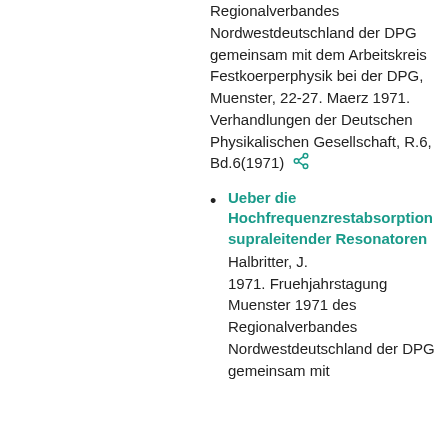Regionalverbandes Nordwestdeutschland der DPG gemeinsam mit dem Arbeitskreis Festkoerperphysik bei der DPG, Muenster, 22-27. Maerz 1971. Verhandlungen der Deutschen Physikalischen Gesellschaft, R.6, Bd.6(1971)
Ueber die Hochfrequenzrestabsorption supraleitender Resonatoren
Halbritter, J.
1971. Fruehjahrstagung Muenster 1971 des Regionalverbandes Nordwestdeutschland der DPG gemeinsam mit